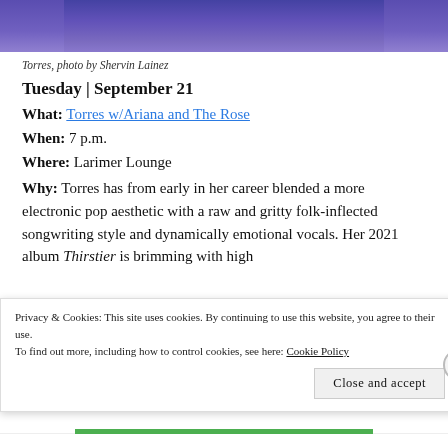[Figure (photo): Photo of Torres, partial view, person in blue top, cropped at top of page]
Torres, photo by Shervin Lainez
Tuesday | September 21
What: Torres w/Ariana and The Rose
When: 7 p.m.
Where: Larimer Lounge
Why: Torres has from early in her career blended a more electronic pop aesthetic with a raw and gritty folk-inflected songwriting style and dynamically emotional vocals. Her 2021 album Thirstier is brimming with high
Privacy & Cookies: This site uses cookies. By continuing to use this website, you agree to their use. To find out more, including how to control cookies, see here: Cookie Policy
Close and accept